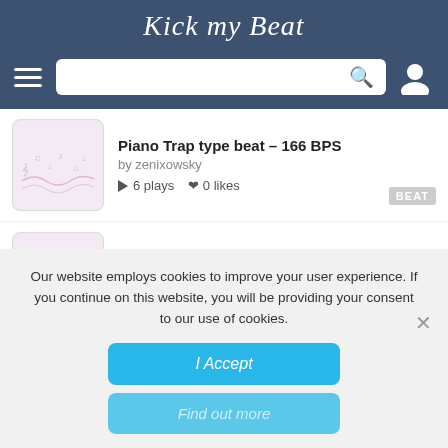Kick my Beat
[Figure (screenshot): Navigation bar with hamburger menu, search box, and user icon on dark blue background]
Piano Trap type beat – 166 BPS by zenixowsky ▶6 plays ♥ 0 likes BEAT
SAD TYPE BEAT 130BPM by zenixowsky ▶33 plays ♥ 0 likes BEAT
Our website employs cookies to improve your user experience. If you continue on this website, you will be providing your consent to our use of cookies.
I Accept
Find out more